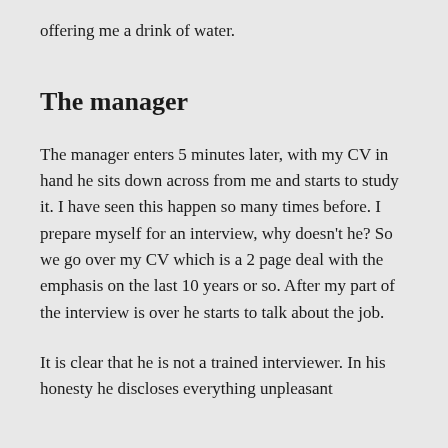offering me a drink of water.
The manager
The manager enters 5 minutes later, with my CV in hand he sits down across from me and starts to study it. I have seen this happen so many times before. I prepare myself for an interview, why doesn't he? So we go over my CV which is a 2 page deal with the emphasis on the last 10 years or so. After my part of the interview is over he starts to talk about the job.
It is clear that he is not a trained interviewer. In his honesty he discloses everything unpleasant